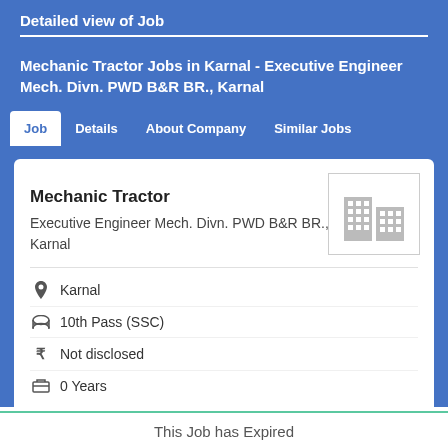Detailed view of Job
Mechanic Tractor Jobs in Karnal - Executive Engineer Mech. Divn. PWD B&R BR., Karnal
Job | Details | About Company | Similar Jobs
Mechanic Tractor
Executive Engineer Mech. Divn. PWD B&R BR., Karnal
Karnal
10th Pass (SSC)
Not disclosed
0 Years
This Job has Expired